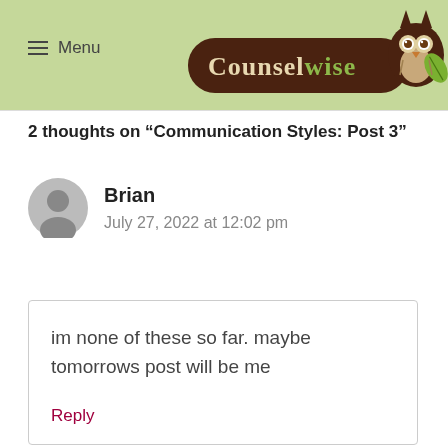Menu | Counselwise
2 thoughts on “Communication Styles: Post 3”
Brian
July 27, 2022 at 12:02 pm
im none of these so far. maybe tomorrows post will be me

Reply